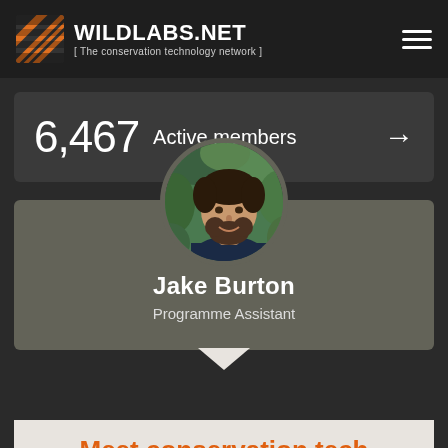WILDLABS.NET [ The conservation technology network ]
6,467 Active members
[Figure (photo): Circular profile photo of Jake Burton, a man with short dark hair and beard wearing a dark shirt, photographed outdoors with green foliage in background]
Jake Burton
Programme Assistant
Meet conservation tech community members from